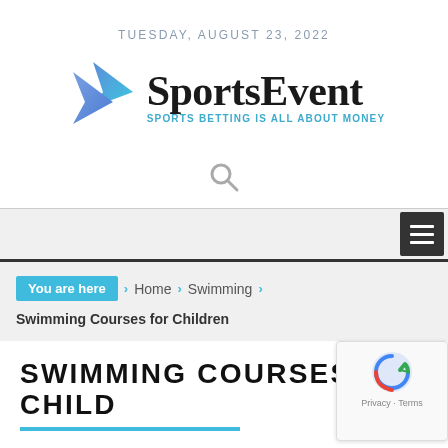TUESDAY, AUGUST 23, 2022
[Figure (logo): SportsEvent logo with blue arrow/chevron graphic and tagline 'SPORTS BETTING IS ALL ABOUT MONEY']
[Figure (other): Search icon (magnifying glass)]
Navigation bar with hamburger menu icon
You are here › Home › Swimming › Swimming Courses for Children
SWIMMING COURSES FOR CHILD